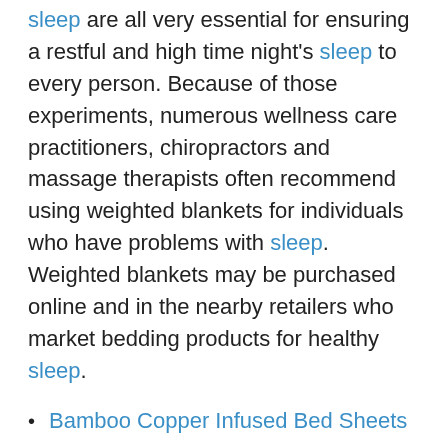sleep are all very essential for ensuring a restful and high time night's sleep to every person. Because of those experiments, numerous wellness care practitioners, chiropractors and massage therapists often recommend using weighted blankets for individuals who have problems with sleep. Weighted blankets may be purchased online and in the nearby retailers who market bedding products for healthy sleep.
Bamboo Copper Infused Bed Sheets
Home Improvement Franklin Tn
Weighted Blanket Guideline
Zoning Weighted Blanket
Home Improvement Company Of Fayetteville Nc
Knit Cotton Weighted Blanket